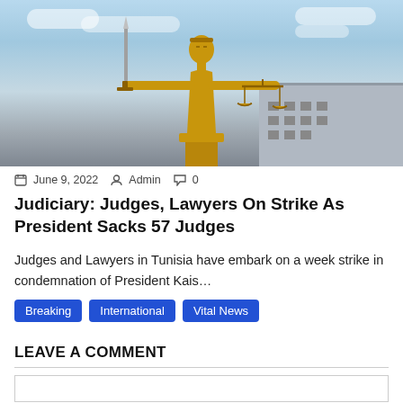[Figure (photo): Golden Lady Justice statue holding scales and sword against a blue sky background, with a building visible in the background.]
June 9, 2022   Admin   0
Judiciary: Judges, Lawyers On Strike As President Sacks 57 Judges
Judges and Lawyers in Tunisia have embark on a week strike in condemnation of President Kais…
Breaking   International   Vital News
LEAVE A COMMENT